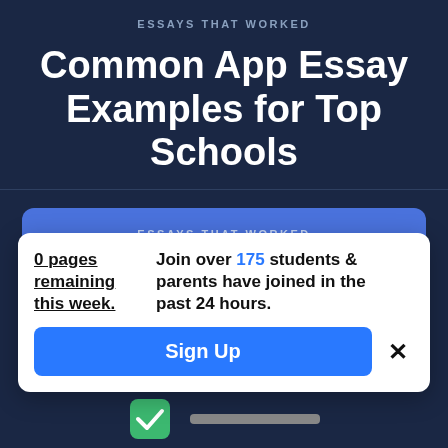ESSAYS THAT WORKED
Common App Essay Examples for Top Schools
ESSAYS THAT WORKED
0 pages remaining this week.
Join over 175 students & parents have joined in the past 24 hours.
Sign Up